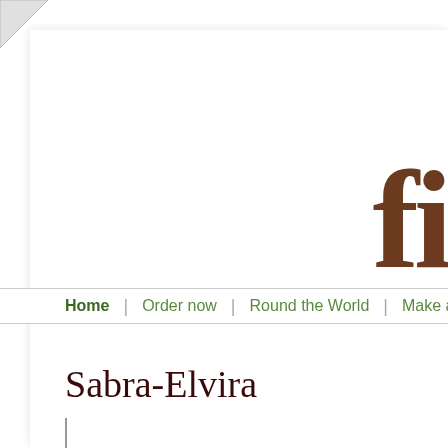[Figure (logo): Partial decorative letter or logo character rendered in dark brown, cropped at right edge of page]
Home | Order now | Round the World | Make a wish | Phot...
Sabra-Elvira